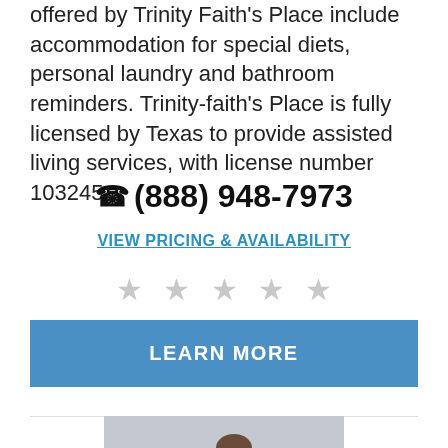offered by Trinity Faith's Place include accommodation for special diets, personal laundry and bathroom reminders. Trinity-faith's Place is fully licensed by Texas to provide assisted living services, with license number 103245.
📞 (888) 948-7973
VIEW PRICING & AVAILABILITY
[Figure (other): Five gray star rating icons]
LEARN MORE
[Figure (photo): Photo of a caregiver with an elderly person, partially visible at bottom of page]